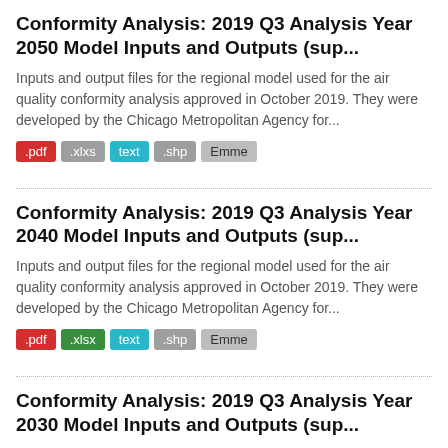Conformity Analysis: 2019 Q3 Analysis Year 2050 Model Inputs and Outputs (sup...
Inputs and output files for the regional model used for the air quality conformity analysis approved in October 2019. They were developed by the Chicago Metropolitan Agency for...
.pdf .xlxs text .shp Emme
Conformity Analysis: 2019 Q3 Analysis Year 2040 Model Inputs and Outputs (sup...
Inputs and output files for the regional model used for the air quality conformity analysis approved in October 2019. They were developed by the Chicago Metropolitan Agency for...
.pdf .xlsx text .shp Emme
Conformity Analysis: 2019 Q3 Analysis Year 2030 Model Inputs and Outputs (sup...
Inputs and output files for the regional model used for the air quality conformity analysis approved in October 2019. They